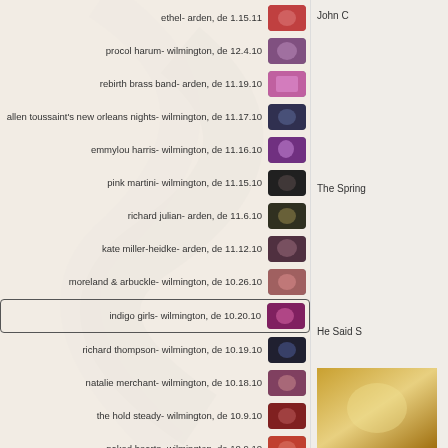ethel- arden, de 1.15.11
procol harum- wilmington, de 12.4.10
rebirth brass band- arden, de 11.19.10
allen toussaint's new orleans nights- wilmington, de 11.17.10
emmylou harris- wilmington, de 11.16.10
pink martini- wilmington, de 11.15.10
richard julian- arden, de 11.6.10
kate miller-heidke- arden, de 11.12.10
moreland & arbuckle- wilmington, de 10.26.10
indigo girls- wilmington, de 10.20.10
richard thompson- wilmington, de 10.19.10
natalie merchant- wilmington, de 10.18.10
the hold steady- wilmington, de 10.9.10
naked hearts- wilmington, de 10.9.10
John C
The Spring
He Said S